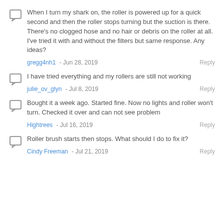When I turn my shark on, the roller is powered up for a quick second and then the roller stops turning but the suction is there. There's no clogged hose and no hair or debris on the roller at all. I've tried it with and without the filters but same response. Any ideas?
gregg4nh1 - Jun 28, 2019   Reply
I have tried everything and my rollers are still not working
julie_ov_glyn - Jul 8, 2019   Reply
Bought it a week ago. Started fine. Now no lights and roller won't turn. Checked it over and can not see problem
Hightrees - Jul 16, 2019   Reply
Roller brush starts then stops. What should I do to fix it?
Cindy Freeman - Jul 21, 2019   Reply